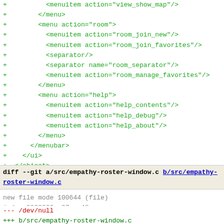Code diff showing XML menu structure additions and file diff header for empathy-roster-window.c
diff --git a/src/empathy-roster-window.c b/src/empathy-roster-window.c
new file mode 100644 (file)
index 0000000..27cce48
--- /dev/null
+++ b/src/empathy-roster-window.c
@@ -0,0 +1,2598 @@
+/* -*-  Mode: C; tab-width: 8; indent-tabs-mode: t; c-basic-
+/*
+ * Copyright (C) 2002-2007 Imendio AB